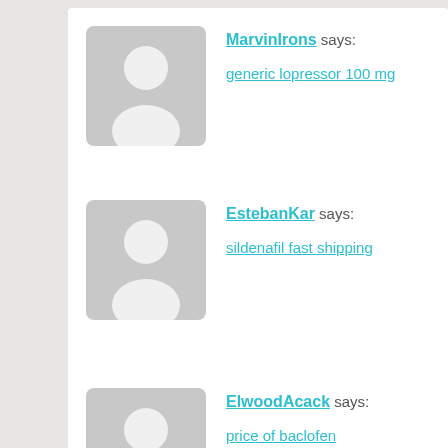MarvinIrons says:
generic lopressor 100 mg
EstebanKar says:
sildenafil fast shipping
ElwoodAcack says:
price of baclofen